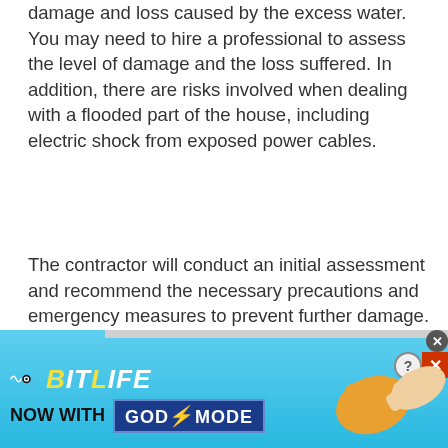damage and loss caused by the excess water. You may need to hire a professional to assess the level of damage and the loss suffered. In addition, there are risks involved when dealing with a flooded part of the house, including electric shock from exposed power cables.
The contractor will conduct an initial assessment and recommend the necessary precautions and emergency measures to prevent further damage.
[Figure (screenshot): Advertisement banner for BitLife app — 'Now with GOD MODE' — on a light blue gradient background, with illustrated hands pointing and close/help buttons in the top right.]